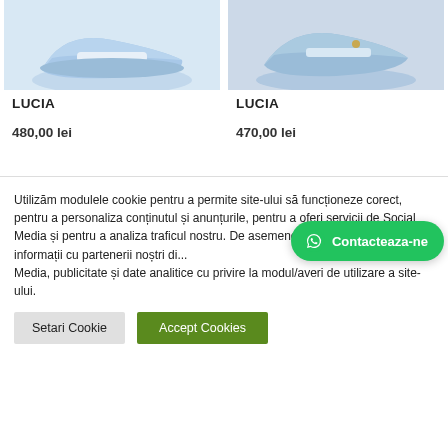[Figure (photo): Blue flat shoe product image on white background (left)]
[Figure (photo): Blue loafer shoe product image on white background (right)]
LUCIA
480,00 lei
LUCIA
470,00 lei
Utilizăm modulele cookie pentru a permite site-ului să funcționeze corect, pentru a personaliza conținutul și anunțurile, pentru a oferi servicii de Social Media și pentru a analiza traficul nostru. De asemenea, facem schimb de informații cu partenerii noștri di... Media, publicitate și date analitice cu privire la modul/averi de utilizare a site-ului.
[Figure (other): WhatsApp Contacteaza-ne button overlay]
Setari Cookie
Accept Cookies